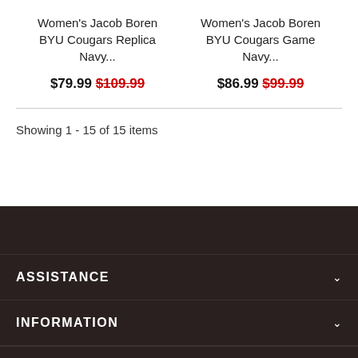Women's Jacob Boren BYU Cougars Replica Navy...
$79.99  $109.99
Women's Jacob Boren BYU Cougars Game Navy...
$86.99  $99.99
Showing 1 - 15 of 15 items
ASSISTANCE
INFORMATION